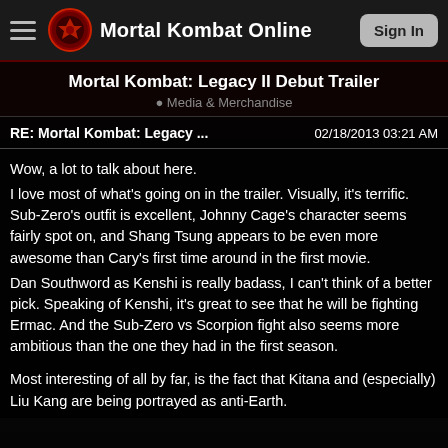Mortal Kombat Online | Sign In
Mortal Kombat: Legacy II Debut Trailer
Media & Merchandise
RE: Mortal Kombat: Legacy ...   02/18/2013 03:21 AM
Wow, a lot to talk about here.
I love most of what's going on in the trailer. Visually, it's terrific. Sub-Zero's outfit is excellent, Johnny Cage's character seems fairly spot on, and Shang Tsung appears to be even more awesome than Cary's first time around in the first movie.
Dan Southword as Kenshi is really badass, I can't think of a better pick. Speaking of Kenshi, it's great to see that he will be fighting Ermac. And the Sub-Zero vs Scorpion fight also seems more ambitious than the one they had in the first season.

Most interesting of all by far, is the fact that Kitana and (especially) Liu Kang are being portrayed as anti-Earth.